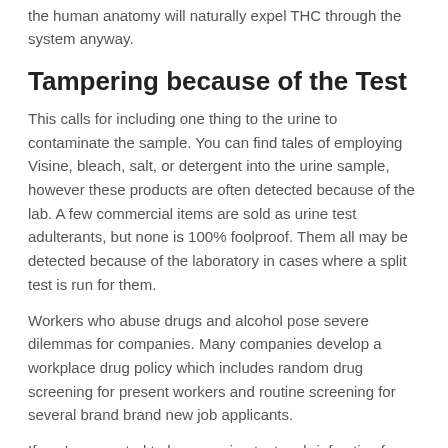the human anatomy will naturally expel THC through the system anyway.
Tampering because of the Test
This calls for including one thing to the urine to contaminate the sample. You can find tales of employing Visine, bleach, salt, or detergent into the urine sample, however these products are often detected because of the lab. A few commercial items are sold as urine test adulterants, but none is 100% foolproof. Them all may be detected because of the laboratory in cases where a split test is run for them.
Workers who abuse drugs and alcohol pose severe dilemmas for companies. Many companies develop a workplace drug policy which includes random drug screening for present workers and routine screening for several brand brand new job applicants.
If you’re expected to have a urine test on brief notice for work or